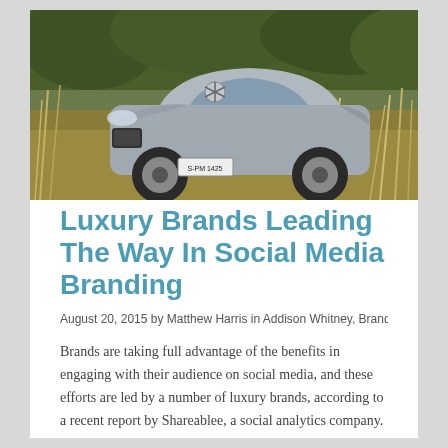[Figure (photo): A silver Mercedes-Benz GLA SUV (license plate S-PM 1425) driving through tall golden grasses in an outdoor/offroad setting with trees in the background.]
Luxury Brands Leading The Way In Social Media Branding
August 20, 2015 by Matthew Harris in Addison Whitney, Branding, social me
Brands are taking full advantage of the benefits in engaging with their audience on social media, and these efforts are led by a number of luxury brands, according to a recent report by Shareablee, a social analytics company.
Continue Reading